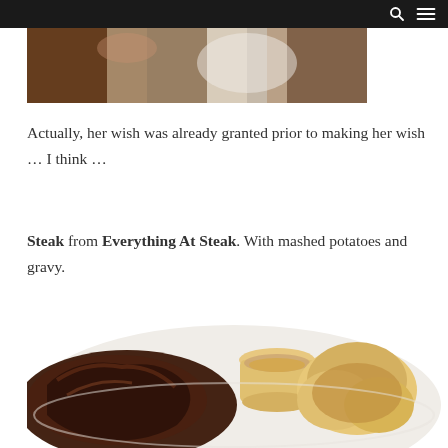[Figure (photo): Partial photo of food on a plate visible at the top of the page]
Actually, her wish was already granted prior to making her wish … I think …
Steak from Everything At Steak. With mashed potatoes and gravy.
[Figure (photo): Close-up photo of a grilled steak on a white plate with mashed potatoes covered in gravy and a small cup of gravy]